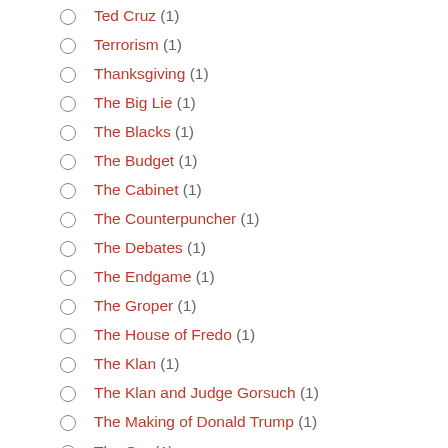Ted Cruz (1)
Terrorism (1)
Thanksgiving (1)
The Big Lie (1)
The Blacks (1)
The Budget (1)
The Cabinet (1)
The Counterpuncher (1)
The Debates (1)
The Endgame (1)
The Groper (1)
The House of Fredo (1)
The Klan (1)
The Klan and Judge Gorsuch (1)
The Making of Donald Trump (1)
The O... (1)